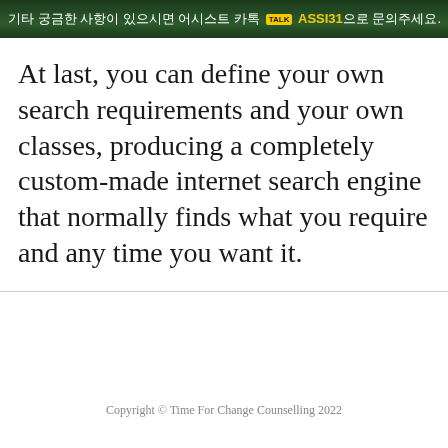[Figure (screenshot): Korean text banner with dark green background. Text reads: 기타 궁금한 사항이 있으시면 어시스트 카톡 TALK ASSI31으로 문의주세요.]
At last, you can define your own search requirements and your own classes, producing a completely custom-made internet search engine that normally finds what you require and any time you want it.
Copyright © Time For Change Counselling 2022